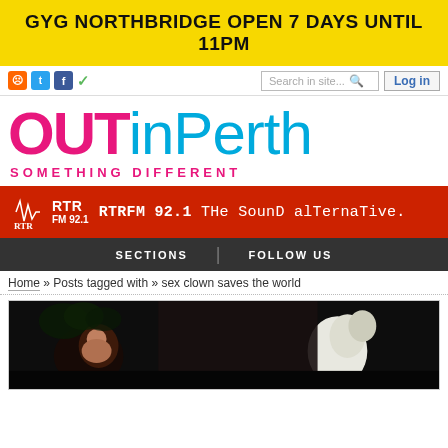[Figure (other): Yellow banner advertisement: GYG NORTHBRIDGE OPEN 7 DAYS UNTIL 11PM]
Social icons (RSS, Twitter, Facebook, checkmark), Search in site..., Log in
[Figure (logo): OUTinPerth logo with tagline SOMETHING DIFFERENT]
[Figure (other): RTR FM 92.1 red banner: RTRFM 92.1 The Sound Alternative.]
SECTIONS | FOLLOW US
Home » Posts tagged with » sex clown saves the world
[Figure (photo): Dark photo showing a person in costume, partially visible, dark background with foliage]